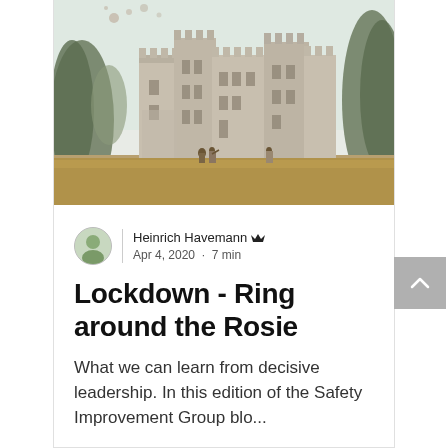[Figure (illustration): Watercolor or pencil illustration of a medieval castle with towers and battlements, surrounded by trees, with figures in the foreground landscape.]
Heinrich Havemann 👑
Apr 4, 2020 · 7 min
Lockdown - Ring around the Rosie
What we can learn from decisive leadership. In this edition of the Safety Improvement Group blo...